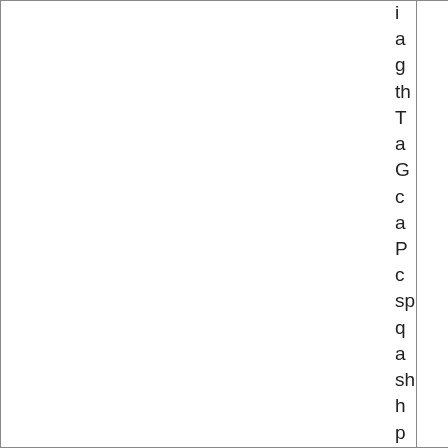|  |  |  |
in a g th T a G c a P c sp q a sh h p g p